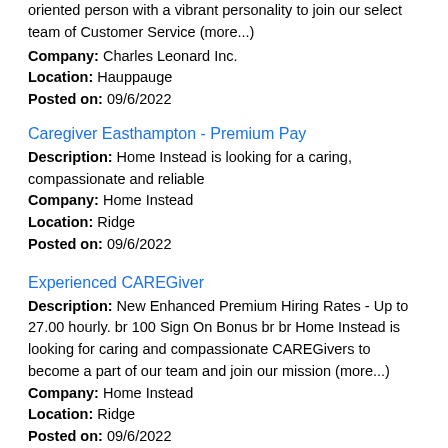oriented person with a vibrant personality to join our select team of Customer Service (more...)
Company: Charles Leonard Inc.
Location: Hauppauge
Posted on: 09/6/2022
Caregiver Easthampton - Premium Pay
Description: Home Instead is looking for a caring, compassionate and reliable
Company: Home Instead
Location: Ridge
Posted on: 09/6/2022
Experienced CAREGiver
Description: New Enhanced Premium Hiring Rates - Up to 27.00 hourly. br 100 Sign On Bonus br br Home Instead is looking for caring and compassionate CAREGivers to become a part of our team and join our mission (more...)
Company: Home Instead
Location: Ridge
Posted on: 09/6/2022
HIRING: CDL Drivers
Description: Hiring CDL Company Drivers in Miller Place, NY. Apply